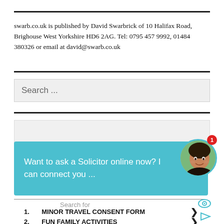swarb.co.uk is published by David Swarbrick of 10 Halifax Road, Brighouse West Yorkshire HD6 2AG. Tel: 0795 457 9992, 01484 380326 or email at david@swarb.co.uk
[Figure (screenshot): Search input box with placeholder text 'Search ...' on grey background]
[Figure (screenshot): Chat widget with teal background showing text 'Want to ask a Solicitor online now? I can connect you ...' with avatar photo and red notification badge showing 1]
1. MINOR TRAVEL CONSENT FORM
2. FUN FAMILY ACTIVITIES